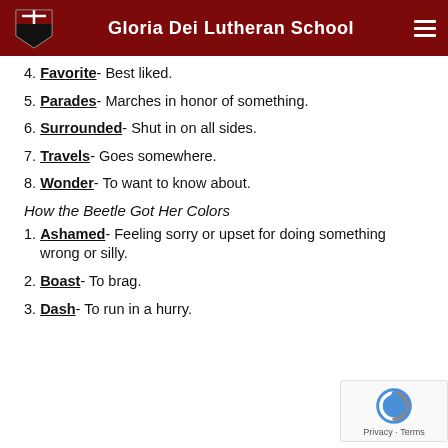Gloria Dei Lutheran School
4. Favorite- Best liked.
5. Parades- Marches in honor of something.
6. Surrounded- Shut in on all sides.
7. Travels- Goes somewhere.
8. Wonder- To want to know about.
How the Beetle Got Her Colors
1. Ashamed- Feeling sorry or upset for doing something wrong or silly.
2. Boast- To brag.
3. Dash- To run in a hurry.